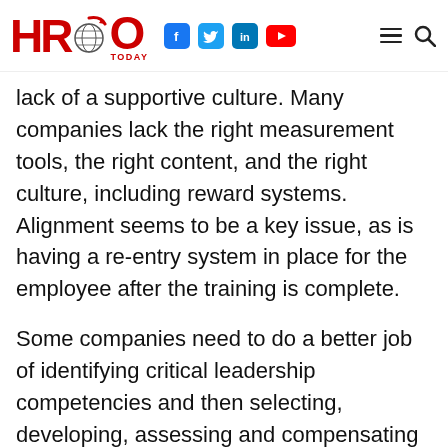HRO Today
lack of a supportive culture. Many companies lack the right measurement tools, the right content, and the right culture, including reward systems. Alignment seems to be a key issue, as is having a re-entry system in place for the employee after the training is complete.
Some companies need to do a better job of identifying critical leadership competencies and then selecting, developing, assessing and compensating based on those competencies. Of course,